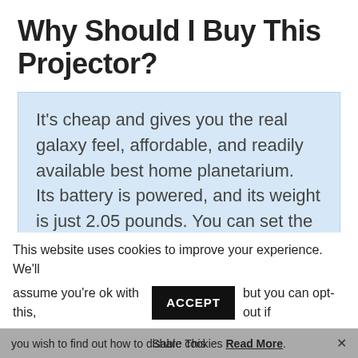Why Should I Buy This Projector?
It's cheap and gives you the real galaxy feel, affordable, and readily available best home planetarium.
Its battery is powered, and its weight is just 2.05 pounds. You can set the focus adjustment and projection angle
This website uses cookies to improve your experience. We'll assume you're ok with this, ACCEPT but you can opt-out if
you wish to find out how to disable cookies Read More. ×